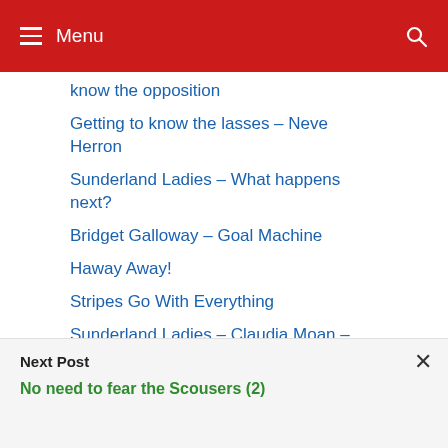≡ Menu
know the opposition
Getting to know the lasses – Neve Herron
Sunderland Ladies – What happens next?
Bridget Galloway – Goal Machine
Haway Away!
Stripes Go With Everything
Sunderland Ladies – Claudia Moan – Number One
SAFC Ladies – Well worth a trip to see
Next Post
No need to fear the Scousers (2)